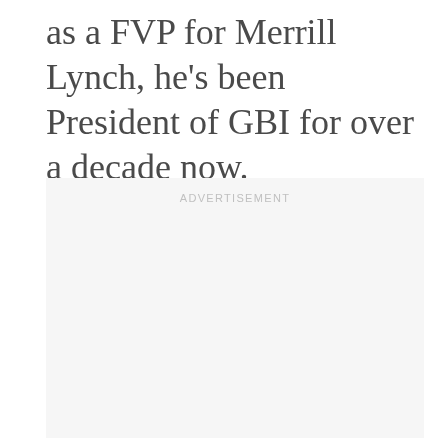as a FVP for Merrill Lynch, he's been President of GBI for over a decade now.
[Figure (other): Advertisement placeholder box with 'ADVERTISEMENT' label at top, light gray background, empty content area.]